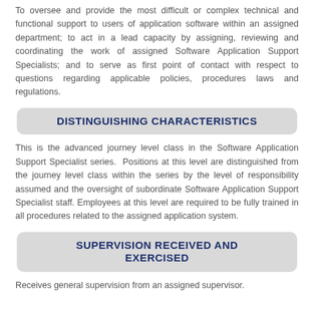To oversee and provide the most difficult or complex technical and functional support to users of application software within an assigned department; to act in a lead capacity by assigning, reviewing and coordinating the work of assigned Software Application Support Specialists; and to serve as first point of contact with respect to questions regarding applicable policies, procedures laws and regulations.
DISTINGUISHING CHARACTERISTICS
This is the advanced journey level class in the Software Application Support Specialist series. Positions at this level are distinguished from the journey level class within the series by the level of responsibility assumed and the oversight of subordinate Software Application Support Specialist staff. Employees at this level are required to be fully trained in all procedures related to the assigned application system.
SUPERVISION RECEIVED AND EXERCISED
Receives general supervision from an assigned supervisor.